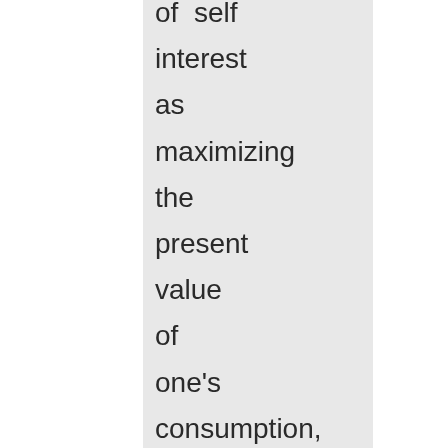of self interest as maximizing the present value of one's consumption, or wealth, independent of others. Wealth can be generalized to include not just their